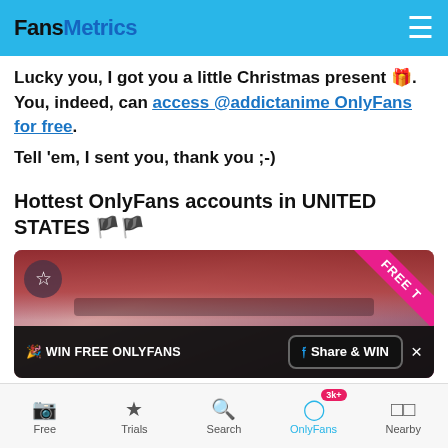FansMetrics
Lucky you, I got you a little Christmas present 🎁. You, indeed, can access @addictanime OnlyFans for free.
Tell 'em, I sent you, thank you ;-)
Hottest OnlyFans accounts in UNITED STATES 🇺🇸🇺🇸
[Figure (photo): Photo card of a person with red hair, with a pink FREE T ribbon in top-right corner, a star/favorite button top-left, and a WIN FREE ONLYFANS / Share & WIN bar at the bottom.]
Free | Trials | Search | OnlyFans 3k+ | Nearby